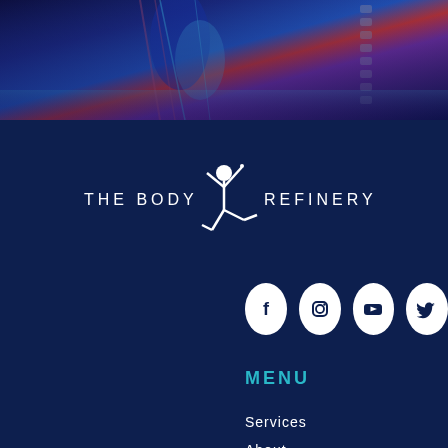[Figure (photo): Hero image showing anatomical/medical illustration of a human figure with blue and purple tones, muscle and skeletal details visible]
[Figure (logo): The Body Refinery logo — white text 'THE BODY REFINERY' with a white silhouette of a dancer/gymnast figure in the center]
[Figure (infographic): Four social media icons in white circles on dark blue background: Facebook, Instagram, YouTube, Twitter]
MENU
Services
About
Client info